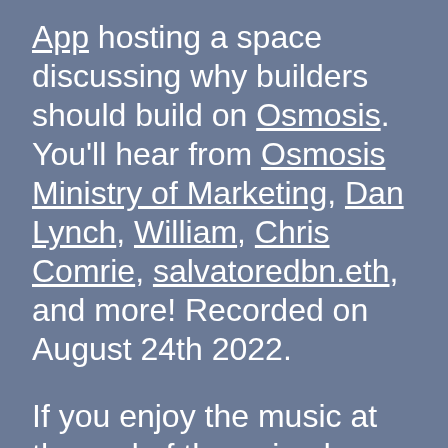App hosting a space discussing why builders should build on Osmosis. You'll hear from Osmosis Ministry of Marketing, Dan Lynch, William, Chris Comrie, salvatoredbn.eth, and more! Recorded on August 24th 2022.
If you enjoy the music at the end of the episodes, you can find the albums streaming on Spotify, and the rest of your favorite streaming platforms. Check out Project Survival, Virus Diaries, and Plan B wherever you get your music.
Thank you to everyone in the community who